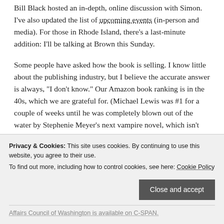Bill Black hosted an in-depth, online discussion with Simon. I've also updated the list of upcoming events (in-person and media). For those in Rhode Island, there's a last-minute addition: I'll be talking at Brown this Sunday.
Some people have asked how the book is selling. I know little about the publishing industry, but I believe the accurate answer is always, "I don't know." Our Amazon book ranking is in the 40s, which we are grateful for. (Michael Lewis was #1 for a couple of weeks until he was completely blown out of the water by Stephenie Meyer's next vampire novel, which isn't even shipping until June.) But as for bookstore sales (which are still several times
Privacy & Cookies: This site uses cookies. By continuing to use this website, you agree to their use. To find out more, including how to control cookies, see here: Cookie Policy
Affairs Council of Washington is available on C-SPAN.